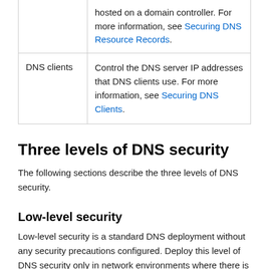|  |  |
| --- | --- |
|  | hosted on a domain controller. For more information, see Securing DNS Resource Records. |
| DNS clients | Control the DNS server IP addresses that DNS clients use. For more information, see Securing DNS Clients. |
Three levels of DNS security
The following sections describe the three levels of DNS security.
Low-level security
Low-level security is a standard DNS deployment without any security precautions configured. Deploy this level of DNS security only in network environments where there is no concern for the integrity of your DNS data or in a private